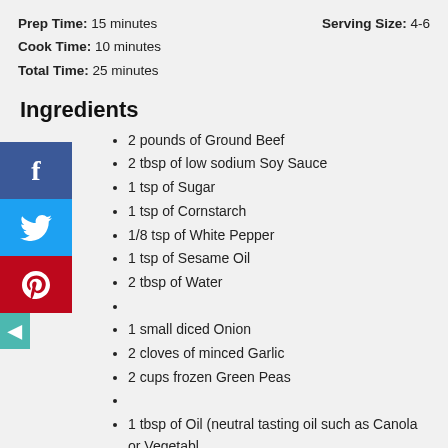Prep Time: 15 minutes
Serving Size: 4-6
Cook Time: 10 minutes
Total Time: 25 minutes
Ingredients
2 pounds of Ground Beef
2 tbsp of low sodium Soy Sauce
1 tsp of Sugar
1 tsp of Cornstarch
1/8 tsp of White Pepper
1 tsp of Sesame Oil
2 tbsp of Water
1 small diced Onion
2 cloves of minced Garlic
2 cups frozen Green Peas
1 tbsp of Oil (neutral tasting oil such as Canola or Vegetable
2 tbsp of Oyster Sauce
1 sliced Green Onion for garnish